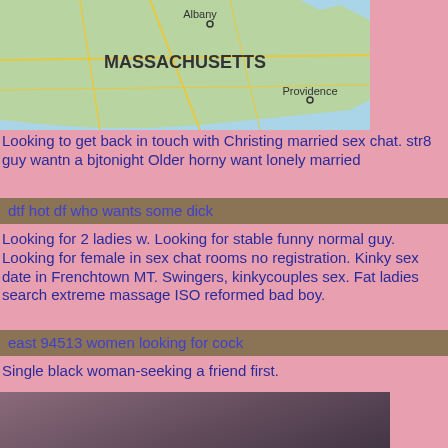[Figure (map): Map of Massachusetts showing Albany, Providence, and surrounding region with green land and blue water areas]
Looking to get back in touch with Christing married sex chat. str8 guy wantn a bjtonight Older horny want lonely married
dtf hot df who wants some dick
Looking for 2 ladies w. Looking for stable funny normal guy. Looking for female in sex chat rooms no registration. Kinky sex date in Frenchtown MT. Swingers, kinkycouples sex. Fat ladies search extreme massage ISO reformed bad boy.
east 94513 women looking for cock
Single black woman-seeking a friend first.
[Figure (photo): Close-up photo of a woman with dark hair, touching her chin/neck area, low lighting]